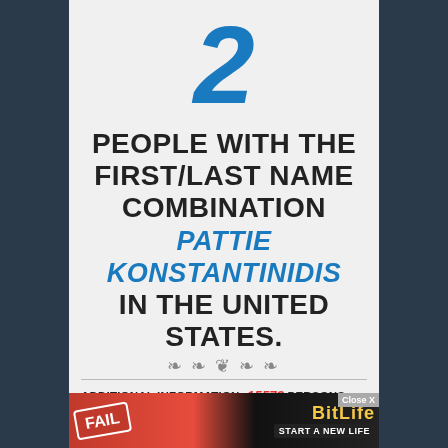2
PEOPLE WITH THE FIRST/LAST NAME COMBINATION PATTIE KONSTANTINIDIS IN THE UNITED STATES.
ADDITIONAL INFORMATION: 15573 PERSONS LIVE IN AMERICA WITH THE FIRST NAME PATTIE
AND THERE ARE 1005 PERSONS IN THE UNITED STATES WITH THE LAST NAME KONSTANTINIDIS
[Figure (infographic): Advertisement banner for BitLife game with FAIL text and character illustration]